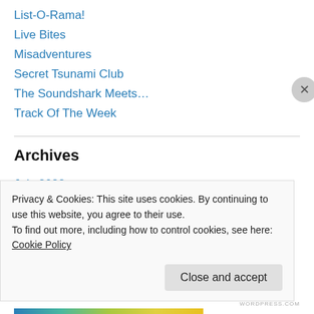List-O-Rama!
Live Bites
Misadventures
Secret Tsunami Club
The Soundshark Meets…
Track Of The Week
Archives
July 2022
June 2022
May 2022
Privacy & Cookies: This site uses cookies. By continuing to use this website, you agree to their use.
To find out more, including how to control cookies, see here: Cookie Policy
Close and accept